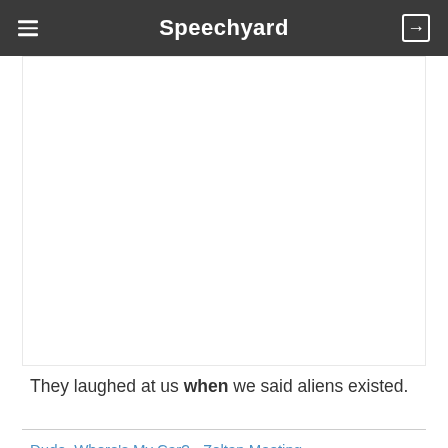Speechyard
[Figure (other): White content box area (advertisement or image placeholder)]
They laughed at us when we said aliens existed.
Dude, Where's My Car? - Zoltan Meeting